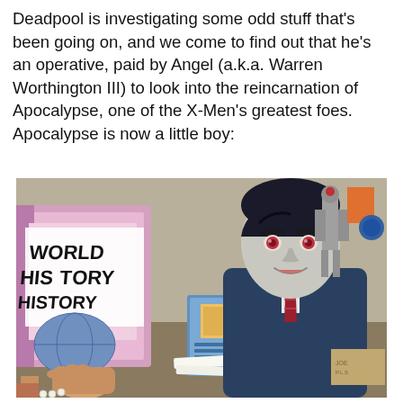Deadpool is investigating some odd stuff that's been going on, and we come to find out that he's an operative, paid by Angel (a.k.a. Warren Worthington III) to look into the reincarnation of Apocalypse, one of the X-Men's greatest foes. Apocalypse is now a little boy:
[Figure (illustration): Comic book panel showing a young boy in a dark blue suit with a red striped tie, pale grey skin and red eyes (reincarnated Apocalypse), sitting and smiling slightly. A hand extends from the left holding a pink 'World History' textbook and another small blue book. Background shows a robot skeleton figure, toys, and various items in a bedroom.]